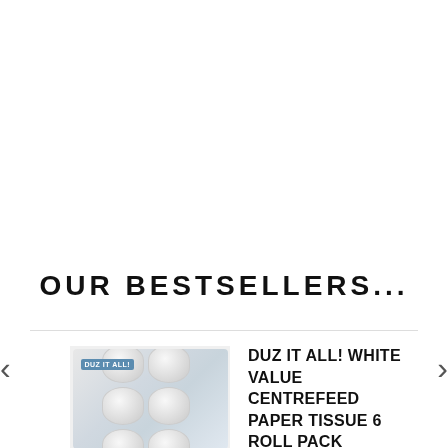OUR BESTSELLERS...
[Figure (photo): Product image of Duz It All! White Value Centrefeed Paper Tissue 6 Roll Pack - showing multiple white paper tissue rolls bundled together with product label]
DUZ IT ALL! WHITE VALUE CENTREFEED PAPER TISSUE 6 ROLL PACK